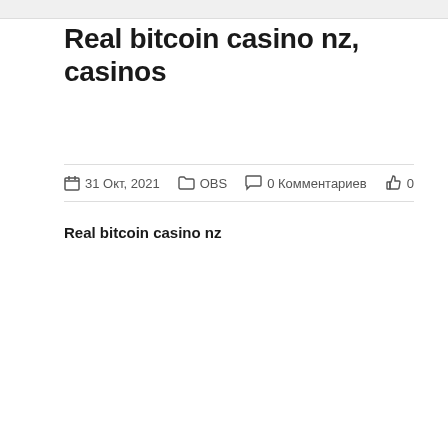Real bitcoin casino nz, casinos
31 Окт, 2021  OBS  0 Комментариев  0
Real bitcoin casino nz